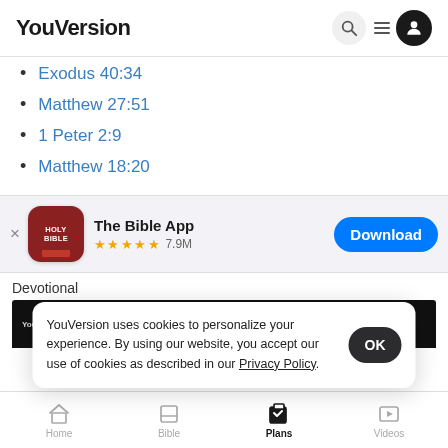YouVersion
Exodus 40:34
Matthew 27:51
1 Peter 2:9
Matthew 18:20
[Figure (screenshot): The Bible App banner with icon, 5 stars, 7.9M rating, and Download button]
Devotional
Give Me Your Peace - Day 1
YouVersion uses cookies to personalize your experience. By using our website, you accept our use of cookies as described in our Privacy Policy.
Home  Bible  Plans  Videos